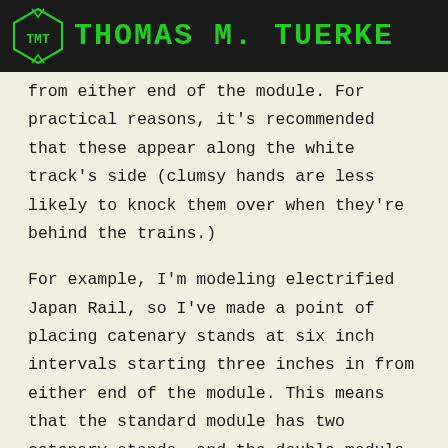THOMAS M. TUERKE
from either end of the module. For practical reasons, it's recommended that these appear along the white track's side (clumsy hands are less likely to knock them over when they're behind the trains.)
For example, I'm modeling electrified Japan Rail, so I've made a point of placing catenary stands at six inch intervals starting three inches in from either end of the module. This means that the standard module has two catenary stands, and the double module has four. I've also placed four